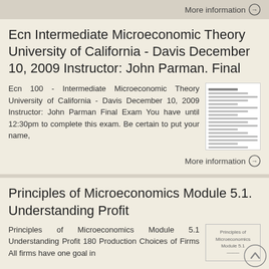More information →
Ecn Intermediate Microeconomic Theory University of California - Davis December 10, 2009 Instructor: John Parman. Final
Ecn 100 - Intermediate Microeconomic Theory University of California - Davis December 10, 2009 Instructor: John Parman Final Exam You have until 12:30pm to complete this exam. Be certain to put your name,
More information →
Principles of Microeconomics Module 5.1. Understanding Profit
Principles of Microeconomics Module 5.1 Understanding Profit 180 Production Choices of Firms All firms have one goal in